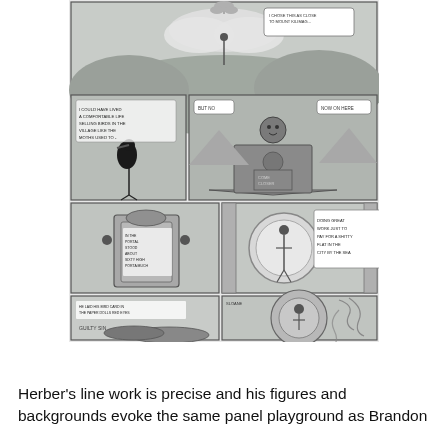[Figure (illustration): A page of black-and-white comic panels arranged in four rows. Top panel: wide panoramic view of a figure standing on a mountain peak above clouds and rocky landscape with a speech bubble. Second row: two panels side-by-side — left panel shows a black bird (stork/crane) with narrative text boxes; right panel shows a large stone temple/pyramid structure in a landscape with two speech bubbles reading 'BUT NO' and 'NOW ON HERE'. Third row: two panels side-by-side — left panel shows an ornate gate/doorway with small figures and interior text; right panel shows a circular glowing portal with a figure and a sign reading 'DOING GREAT WORK JUST TO PAY FOR A SHITTY FLAT IN THE CITY BY THE SEA'. Bottom row: two panels side-by-side — left panel shows hands with text 'HE LAID HIS BIRD CARD IN THE PAPER DOLLS RED EYES' and 'GUILTY SIN'; right panel shows a circular decorative mirror or portal with a figure and swirling patterns.]
Herber's line work is precise and his figures and backgrounds evoke the same panel playground as Brandon